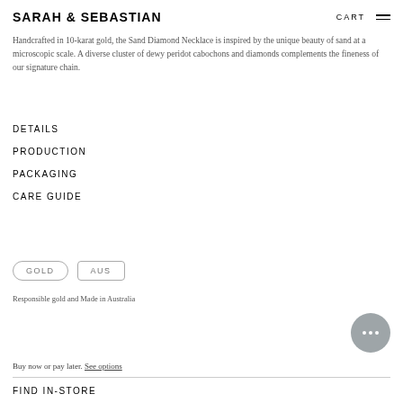SARAH & SEBASTIAN   CART
Handcrafted in 10-karat gold, the Sand Diamond Necklace is inspired by the unique beauty of sand at a microscopic scale. A diverse cluster of dewy peridot cabochons and diamonds complements the fineness of our signature chain.
DETAILS
PRODUCTION
PACKAGING
CARE GUIDE
[Figure (logo): GOLD badge (rounded rectangle) and AUS badge (rectangle)]
Responsible gold and Made in Australia
Buy now or pay later. See options
FIND IN-STORE